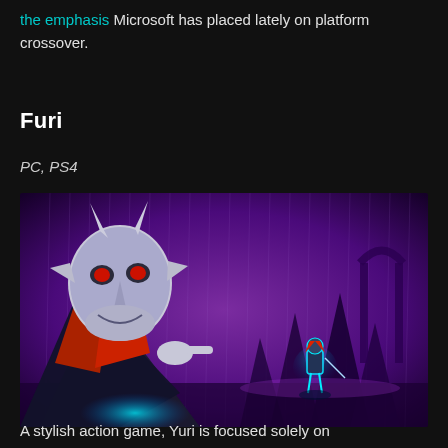the emphasis Microsoft has placed lately on platform crossover.
Furi
PC, PS4
[Figure (screenshot): Screenshot from the game Furi showing a large demon/oni mask character in the foreground on the left, and a small glowing blue and red hero character in the background on the right, set in a dark purple rain-soaked environment with spiky rock formations.]
A stylish action game, Yuri is focused solely on